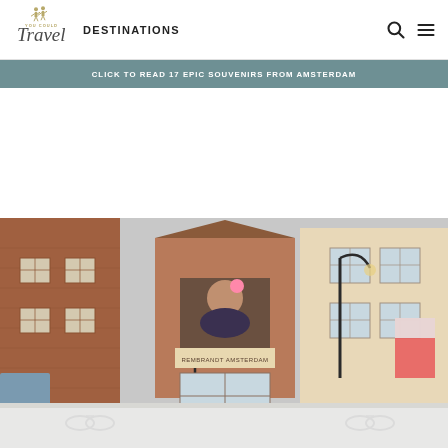You Could Travel — DESTINATIONS
CLICK TO READ 17 EPIC SOUVENIRS FROM AMSTERDAM
[Figure (photo): Street view of a narrow Amsterdam alley with historic brick buildings, bicycles parked along the sides, a portrait painting displayed on a building facade, and street lamps. Lower portion shows a faded/washed-out continuation of the same street scene.]